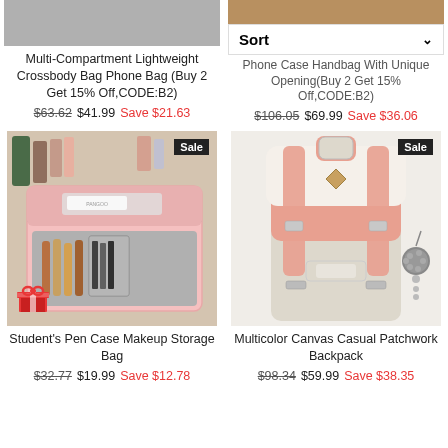[Figure (photo): Top portion of a crossbody bag product image (gray background, partial view)]
Multi-Compartment Lightweight Crossbody Bag Phone Bag (Buy 2 Get 15% Off,CODE:B2)
$63.62  $41.99  Save $21.63
[Figure (photo): Sort dropdown interface element on e-commerce site]
Phone Case Handbag With Unique Opening(Buy 2 Get 15% Off,CODE:B2)
$106.05  $69.99  Save $36.06
[Figure (photo): Pink student makeup storage pen case bag open showing compartments with brushes and pens, Sale badge, gift icon overlay]
Student's Pen Case Makeup Storage Bag
$32.77  $19.99  Save $12.78
[Figure (photo): Pink and beige multicolor canvas casual patchwork backpack with fur ball keychain, Sale badge]
Multicolor Canvas Casual Patchwork Backpack
$98.34  $59.99  Save $38.35